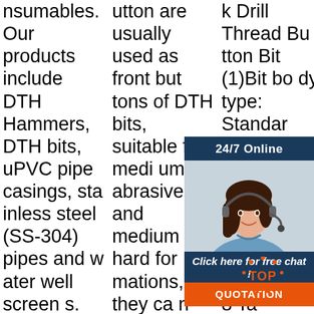nsumables. Our products include DTH Hammers, DTH bits, uPVC pipe casings, stainless steel (SS-304) pipes and water well screens. DTH Hammers DTH Bits A down-hole hammer is a percussion hammer drill. In this type of hammer the piston applying repeated percussive pressure
utton are usually used as front buttons of DTH bits, suitable for medium abrasive and medium hard formations, they can also be used as gauge buttons if the rock is soft.. Ballistic Carbide Button carbide tips for rock drilling tool. 1. About Raw Material: 100% raw material.
k Drill Thread Button Bit (1)Bit body type: Standard/Retrac(2)Bit body : and (3)... R25 8(4)... 8 Ta... GT... eter... (6)Drill bit models: cross bit/button bit(7)Button bit shape: spherical/parabolic(8)Bit fa
[Figure (other): Customer support chat widget overlay showing a woman with headset, '24/7 Online' header, 'Click here for free chat!' link, and orange QUOTATION button]